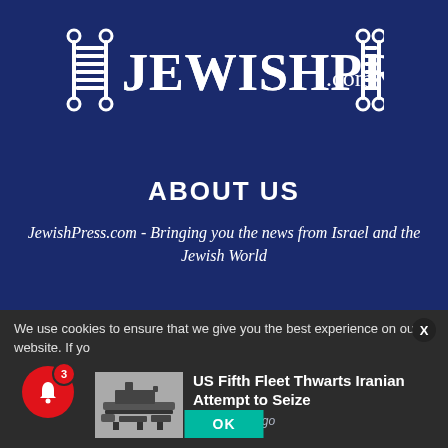[Figure (logo): JewishPress.com logo — white serif text with decorative Torah scroll icons on dark navy background]
ABOUT US
JewishPress.com - Bringing you the news from Israel and the Jewish World
Home   About   Advertise   Contact   Privacy   Dept. of Corrections   Submit an Article   Job Openings   Subscribe (Email Newsletter)   Subscriptions (Print Edition)
We use cookies to ensure that we give you the best experience on our website. If yo
US Fifth Fleet Thwarts Iranian Attempt to Seize
40 minutes ago